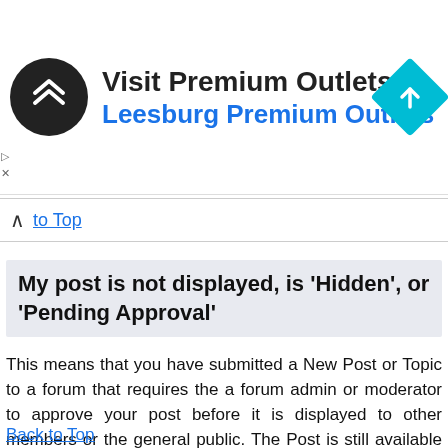[Figure (infographic): Advertisement banner for Visit Premium Outlets® — Leesburg Premium Outlets, with a circular black logo with arrow icon and a cyan navigation diamond icon on the right.]
to Top
My post is not displayed, is 'Hidden', or 'Pending Approval'
This means that you have submitted a New Post or Topic to a forum that requires the a forum admin or moderator to approve your post before it is displayed to other members or the general public. The Post is still available for the member who submitted the Post to edit or delete during this time.
Back to Top